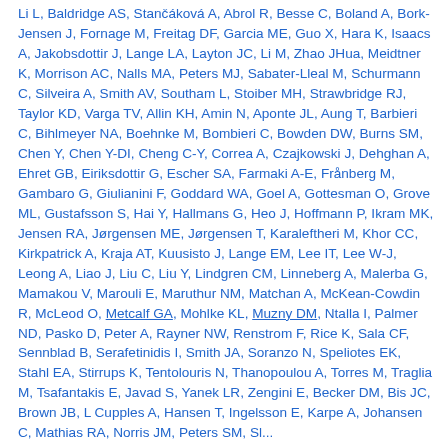Li L, Baldridge AS, Stančáková A, Abrol R, Besse C, Boland A, Bork-Jensen J, Fornage M, Freitag DF, Garcia ME, Guo X, Hara K, Isaacs A, Jakobsdottir J, Lange LA, Layton JC, Li M, Zhao JHua, Meidtner K, Morrison AC, Nalls MA, Peters MJ, Sabater-Lleal M, Schurmann C, Silveira A, Smith AV, Southam L, Stoiber MH, Strawbridge RJ, Taylor KD, Varga TV, Allin KH, Amin N, Aponte JL, Aung T, Barbieri C, Bihlmeyer NA, Boehnke M, Bombieri C, Bowden DW, Burns SM, Chen Y, Chen Y-DI, Cheng C-Y, Correa A, Czajkowski J, Dehghan A, Ehret GB, Eiriksdottir G, Escher SA, Farmaki A-E, Frånberg M, Gambaro G, Giulianini F, Goddard WA, Goel A, Gottesman O, Grove ML, Gustafsson S, Hai Y, Hallmans G, Heo J, Hoffmann P, Ikram MK, Jensen RA, Jørgensen ME, Jørgensen T, Karaleftheri M, Khor CC, Kirkpatrick A, Kraja AT, Kuusisto J, Lange EM, Lee IT, Lee W-J, Leong A, Liao J, Liu C, Liu Y, Lindgren CM, Linneberg A, Malerba G, Mamakou V, Marouli E, Maruthur NM, Matchan A, McKean-Cowdin R, McLeod O, Metcalf GA, Mohlke KL, Muzny DM, Ntalla I, Palmer ND, Pasko D, Peter A, Rayner NW, Renstrom F, Rice K, Sala CF, Sennblad B, Serafetinidis I, Smith JA, Soranzo N, Speliotes EK, Stahl EA, Stirrups K, Tentolouris N, Thanopoulou A, Torres M, Traglia M, Tsafantakis E, Javad S, Yanek LR, Zengini E, Becker DM, Bis JC, Brown JB, L Cupples A, Hansen T, Ingelsson E, Karpe A, Johansen C, Mathias RA, Norris JM, Peters SM, Sl...